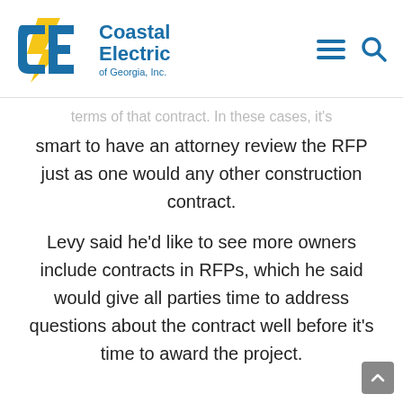[Figure (logo): Coastal Electric of Georgia, Inc. logo with CE letters in blue and gold lightning bolt, plus hamburger menu and search icons]
terms of that contract. In these cases, it's smart to have an attorney review the RFP just as one would any other construction contract.
Levy said he'd like to see more owners include contracts in RFPs, which he said would give all parties time to address questions about the contract well before it's time to award the project.